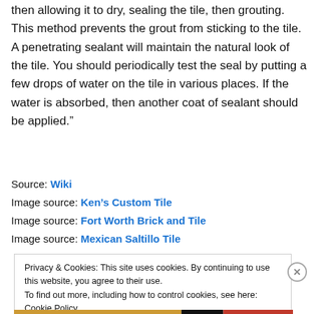then allowing it to dry, sealing the tile, then grouting. This method prevents the grout from sticking to the tile. A penetrating sealant will maintain the natural look of the tile. You should periodically test the seal by putting a few drops of water on the tile in various places. If the water is absorbed, then another coat of sealant should be applied.”
Source: Wiki
Image source: Ken’s Custom Tile
Image source: Fort Worth Brick and Tile
Image source: Mexican Saltillo Tile
Privacy & Cookies: This site uses cookies. By continuing to use this website, you agree to their use.
To find out more, including how to control cookies, see here: Cookie Policy